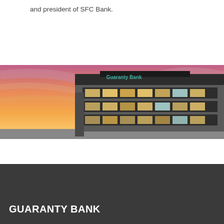and president of SFC Bank.
[Figure (photo): Exterior photo of a Guaranty Bank building at dusk/sunset with a pink and orange sky. The multi-story modern office building has large windows and a Guaranty Bank sign on top.]
GUARANTY BANK